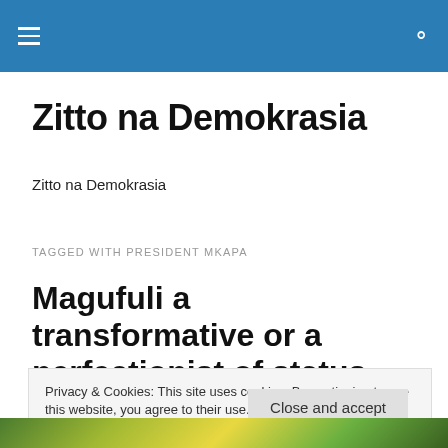Zitto na Demokrasia — navigation bar
Zitto na Demokrasia
Zitto na Demokrasia
TAGGED WITH PRESIDENT MKAPA
Magufuli a transformative or a perfectionist of status quo?
Privacy & Cookies: This site uses cookies. By continuing to use this website, you agree to their use. To find out more, including how to control cookies, see here: Cookie Policy
[Figure (photo): Colorful green and yellow foliage photo strip at the bottom of the page]